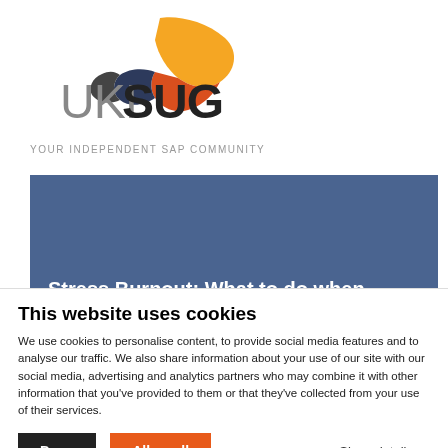[Figure (logo): UKISUG logo with colorful bird/leaf shape and text 'UKISUG' and tagline 'YOUR INDEPENDENT SAP COMMUNITY']
[Figure (screenshot): Blue banner with white date box showing '27 OCT 2022' and partial article title 'Stress Burnout: What to do when there's']
This website uses cookies
We use cookies to personalise content, to provide social media features and to analyse our traffic. We also share information about your use of our site with our social media, advertising and analytics partners who may combine it with other information that you've provided to them or that they've collected from your use of their services.
Deny | Allow all | Show details